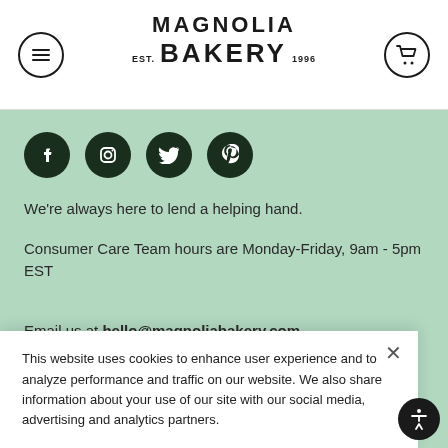MAGNOLIA BAKERY EST. 1996
[Figure (illustration): Four social media icons (Facebook, Instagram, Twitter, Pinterest) as white icons on dark green circles]
We're always here to lend a helping hand.
Consumer Care Team hours are Monday-Friday, 9am - 5pm EST
Email us at hello@magnoliabakery.com
Call us at  855-MBAKERY
This website uses cookies to enhance user experience and to analyze performance and traffic on our website. We also share information about your use of our site with our social media, advertising and analytics partners.